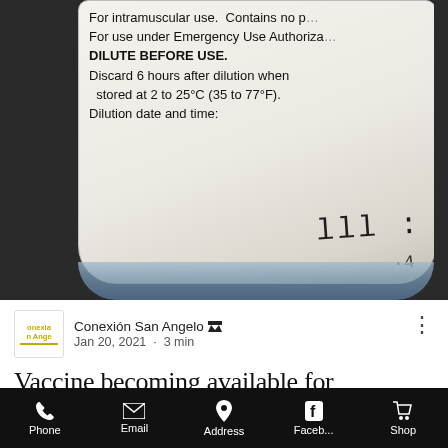[Figure (photo): Close-up photograph of a vaccine vial label showing instructions: 'For intramuscular use. Contains no p[reservative]. For use under Emergency Use Authorization. DILUTE BEFORE USE. Discard 6 hours after dilution when stored at 2 to 25°C (35 to 77°F). Dilution date and time:' with handwritten markings on the label.]
Conexión San Angelo · Jan 20, 2021 · 3 min
Vaccine becoming available for caregivers, senior citizens
Phone | Email | Address | Faceb... | Shop